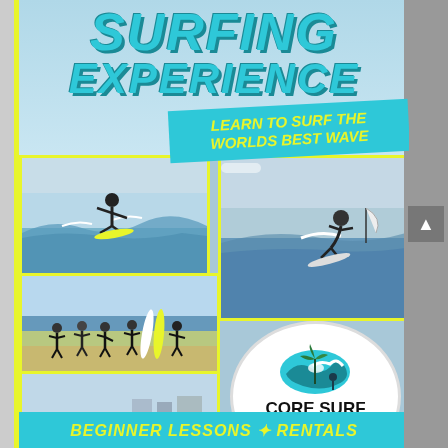SURFING EXPERIENCE
LEARN TO SURF THE WORLDS BEST WAVE
[Figure (photo): Collage of surfing photos: surfer on wave, group of people on beach with surfboards, child near shoreline, instructor in water]
[Figure (logo): Core Surf School logo: circular emblem with wave and palm tree graphic, text 'CORE SURF SCHOOL', 'JEFFREYS BAY']
BEGINNER LESSONS ✦ RENTALS